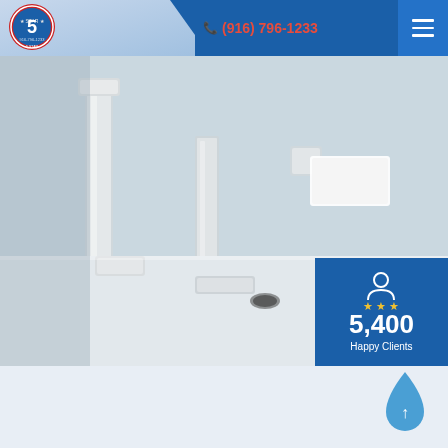[Figure (logo): 5 Star plumbing service logo - circular badge with red border and blue background, number 5 in center, stars around]
(916) 796-1233
[Figure (photo): Close-up photo of modern chrome bathroom faucet fixtures on white sink/countertop]
5,400
Happy Clients